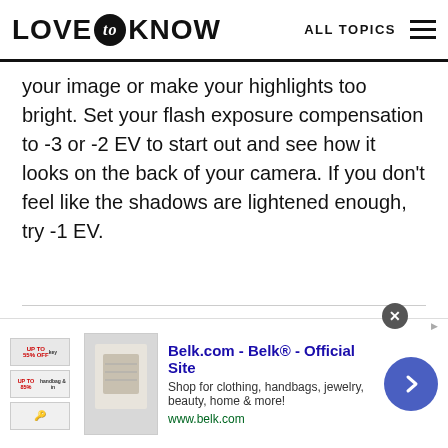LOVE to KNOW  ALL TOPICS
your image or make your highlights too bright. Set your flash exposure compensation to -3 or -2 EV to start out and see how it looks on the back of your camera. If you don't feel like the shadows are lightened enough, try -1 EV.
[Figure (screenshot): Advertisement banner for Belk.com showing product image, title 'Belk.com - Belk® - Official Site', description 'Shop for clothing, handbags, jewelry, beauty, home & more!', URL 'www.belk.com', and a blue arrow button.]